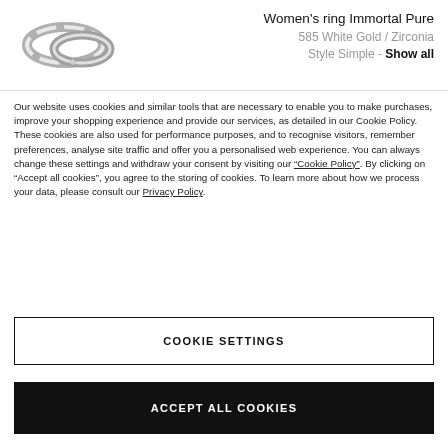[Figure (photo): Product photo of a women's white gold ring]
Women's ring Immortal Pure
585 White Gold / Zirconia
Style Simple - Show all
Our website uses cookies and similar tools that are necessary to enable you to make purchases, improve your shopping experience and provide our services, as detailed in our Cookie Policy. These cookies are also used for performance purposes, and to recognise visitors, remember preferences, analyse site traffic and offer you a personalised web experience. You can always change these settings and withdraw your consent by visiting our “Cookie Policy”. By clicking on “Accept all cookies”, you agree to the storing of cookies. To learn more about how we process your data, please consult our Privacy Policy.
COOKIE SETTINGS
ACCEPT ALL COOKIES